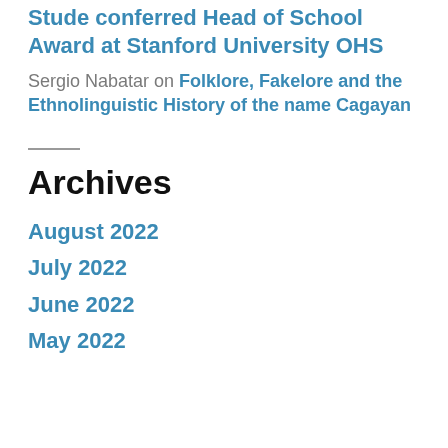Stude conferred Head of School Award at Stanford University OHS
Sergio Nabatar on Folklore, Fakelore and the Ethnolinguistic History of the name Cagayan
Archives
August 2022
July 2022
June 2022
May 2022